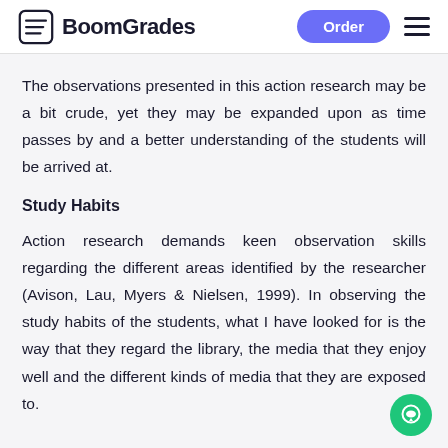BoomGrades | Order
The observations presented in this action research may be a bit crude, yet they may be expanded upon as time passes by and a better understanding of the students will be arrived at.
Study Habits
Action research demands keen observation skills regarding the different areas identified by the researcher (Avison, Lau, Myers & Nielsen, 1999). In observing the study habits of the students, what I have looked for is the way that they regard the library, the media that they enjoy well and the different kinds of media that they are exposed to.